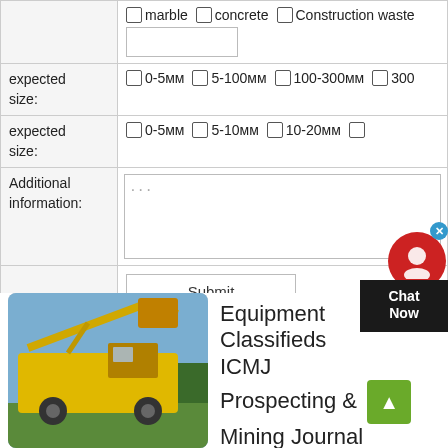|  | ☐ marble   ☐ concrete   ☐ Construction waste | [text input] |
| expected size: | ☐ 0-5мм   ☐ 5-100мм   ☐ 100-300мм   ☐ 300... |  |
| expected size: | ☐ 0-5мм   ☐ 5-10мм   ☐ 10-20мм   ☐ ... |  |
| Additional information: | [textarea: ...] |  |
|  | [Submit button] |  |
[Figure (photo): Yellow mining/drilling equipment outdoors against blue sky with trees in background]
Equipment Classifieds ICMJ Prospecting & Mining Journal